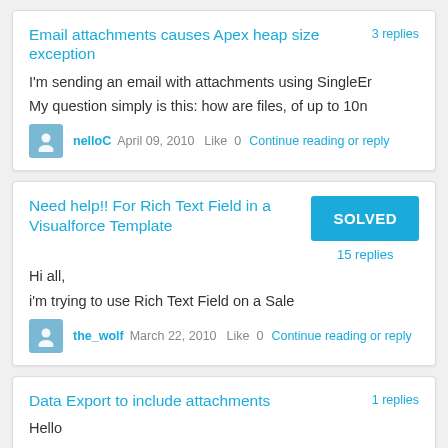Email attachments causes Apex heap size exception
3 replies
I'm sending an email with attachments using SingleEr
My question simply is this: how are files, of up to 10n
nelloC  April 09, 2010  Like  0  Continue reading or reply
Need help!! For Rich Text Field in a Visualforce Template
SOLVED
Hi all,
15 replies
i'm trying to use Rich Text Field on a Sale
the_wolf  March 22, 2010  Like  0  Continue reading or reply
Data Export to include attachments
1 replies
Hello